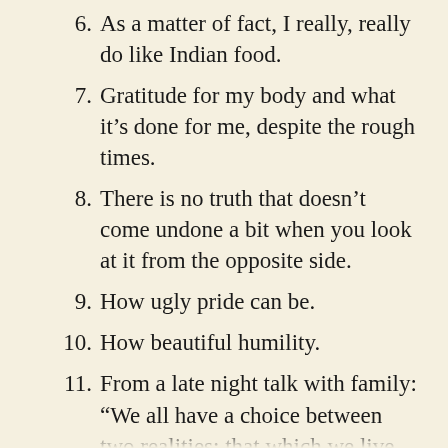6. As a matter of fact, I really, really do like Indian food.
7. Gratitude for my body and what it’s done for me, despite the rough times.
8. There is no truth that doesn’t come undone a bit when you look at it from the opposite side.
9. How ugly pride can be.
10. How beautiful humility.
11. From a late night talk with family: “We all have a choice between two realities: that which we live through and that which we suffer through.”